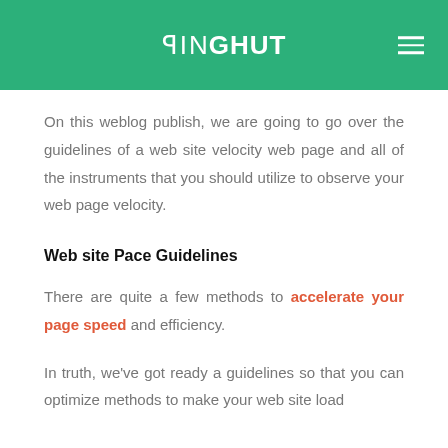PINGHUT
On this weblog publish, we are going to go over the guidelines of a web site velocity web page and all of the instruments that you should utilize to observe your web page velocity.
Web site Pace Guidelines
There are quite a few methods to accelerate your page speed and efficiency.
In truth, we've got ready a guidelines so that you can optimize methods to make your web site load